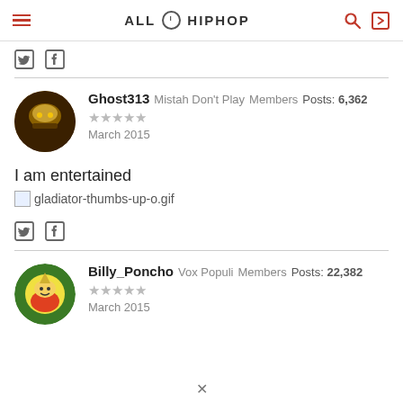ALL HIP HOP
Ghost313   Mistah Don't Play   Members   Posts: 6,362
★★★★★
March 2015
I am entertained
gladiator-thumbs-up-o.gif
Billy_Poncho   Vox Populi   Members   Posts: 22,382
★★★★★
March 2015